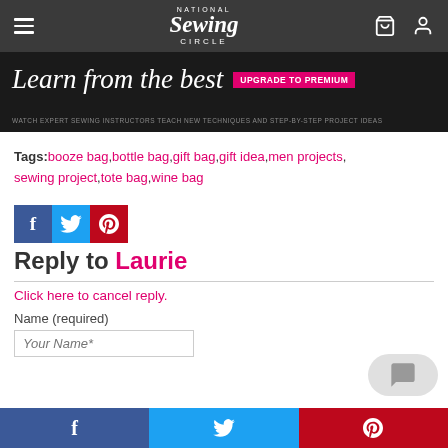[Figure (screenshot): National Sewing Circle navigation bar with hamburger menu, logo, and icons]
[Figure (screenshot): Ad banner: 'Learn from the best' with Upgrade to Premium button and subtext about expert sewing instructors]
Tags: booze bag, bottle bag, gift bag, gift idea, men projects, sewing project, tote bag, wine bag
[Figure (screenshot): Social share icons: Facebook, Twitter, Pinterest]
Reply to Laurie
Click here to cancel reply.
Name (required)
[Figure (screenshot): Bottom social share bar with Facebook, Twitter, Pinterest buttons]